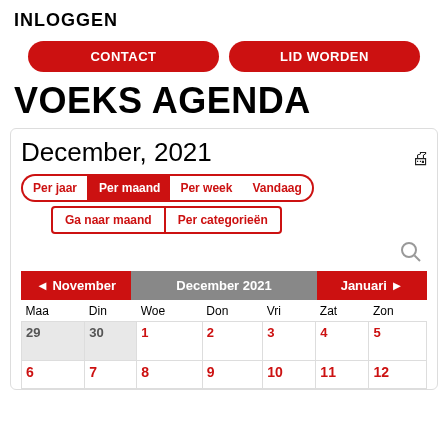INLOGGEN
[Figure (screenshot): Two red pill-shaped navigation buttons: CONTACT and LID WORDEN]
VOEKS AGENDA
[Figure (screenshot): Calendar widget showing December 2021 with navigation buttons Per jaar, Per maand (active), Per week, Vandaag, Ga naar maand, Per categorieën; month navigation row with November, December 2021, Januari; day headers Maa Din Woe Don Vri Zat Zon; week rows showing dates 29-30 (grayed) and 1-5 in red, then 6-12 partial row]